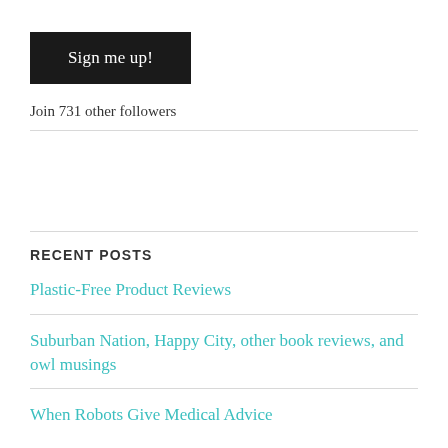[Figure (other): Dark rounded rectangle button with white text 'Sign me up!']
Join 731 other followers
RECENT POSTS
Plastic-Free Product Reviews
Suburban Nation, Happy City, other book reviews, and owl musings
When Robots Give Medical Advice